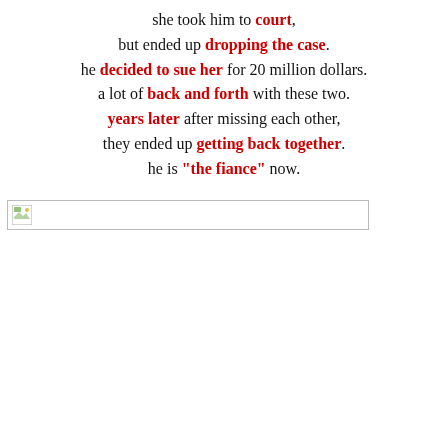she took him to court, but ended up dropping the case. he decided to sue her for 20 million dollars. a lot of back and forth with these two. years later after missing each other, they ended up getting back together. he is "the fiance" now.
[Figure (other): Broken image placeholder icon with gray horizontal border line]